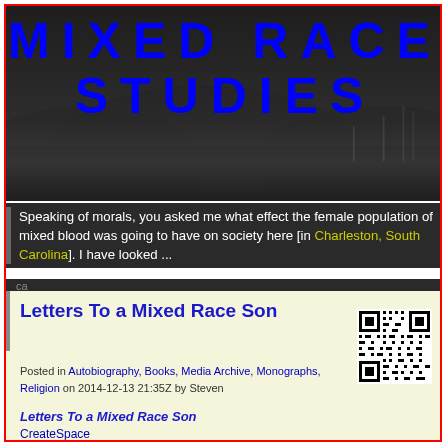MIXED RACE STUDIES
Speaking of morals, you asked me what effect the female population of mixed blood was going to have on society here [in Charleston, South Carolina]. I have looked....
Letters To a Mixed Race Son
Posted in Autobiography, Books, Media Archive, Monographs, Religion on 2014-12-13 21:35Z by Steven
[Figure (other): QR code for the article]
Letters To a Mixed Race Son
CreateSpace
2012-01-06